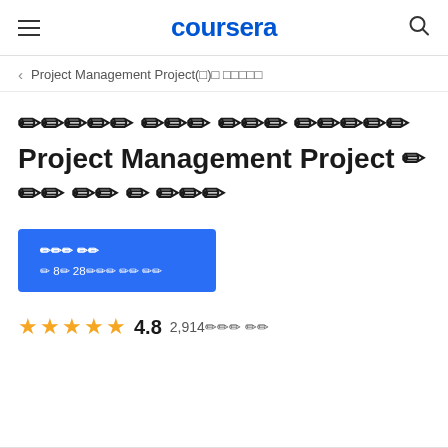coursera
Project Management Project(□)□ □□□□□
□□□□□□ □□□ □□□ □□□□□ Project Management Project □□□ □□ □ □□□
□□□ □□
□ 8□ 28□□□ □□ □□
4.8  2,914□□□ □□